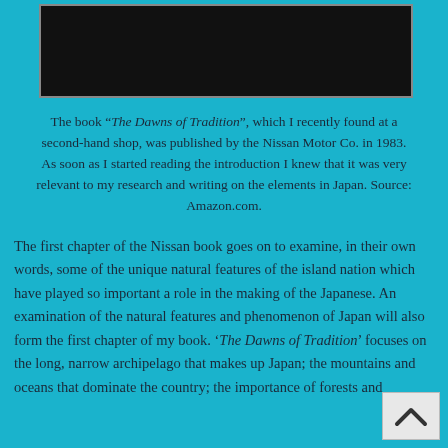[Figure (photo): Dark photograph strip at the top of the page, appears to show a night or dark outdoor scene]
The book “The Dawns of Tradition”, which I recently found at a second-hand shop, was published by the Nissan Motor Co. in 1983. As soon as I started reading the introduction I knew that it was very relevant to my research and writing on the elements in Japan. Source: Amazon.com.
The first chapter of the Nissan book goes on to examine, in their own words, some of the unique natural features of the island nation which have played so important a role in the making of the Japanese. An examination of the natural features and phenomenon of Japan will also form the first chapter of my book. ‘The Dawns of Tradition’ focuses on the long, narrow archipelago that makes up Japan; the mountains and oceans that dominate the country; the importance of forests and